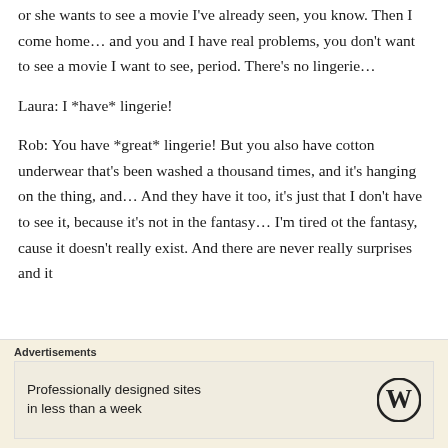or she wants to see a movie I've already seen, you know. Then I come home… and you and I have real problems, you don't want to see a movie I want to see, period. There's no lingerie…
Laura: I *have* lingerie!
Rob: You have *great* lingerie! But you also have cotton underwear that's been washed a thousand times, and it's hanging on the thing, and… And they have it too, it's just that I don't have to see it, because it's not in the fantasy… I'm tired ot the fantasy, cause it doesn't really exist. And there are never really surprises and it …
Advertisements
Professionally designed sites in less than a week